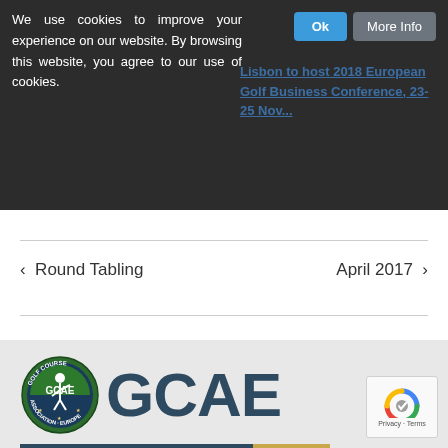We use cookies to improve your experience on our website. By browsing this website, you agree to our use of cookies.
Lisbon to host 2018 European Golf Business Conference, 23-25 Nov...
< Round Tabling
April 2017 >
[Figure (logo): GCAE (Golf Course Association Europe) logo with circular emblem and large GCAE text, with a two-tone bar below in dark blue and gold]
Privacy · Terms